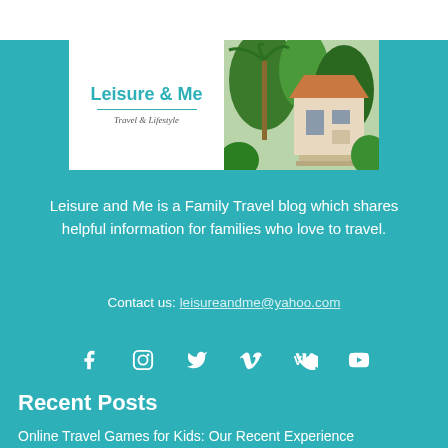[Figure (logo): Leisure & Me blog logo banner with text 'Leisure & Me' and subtitle 'Travel & Lifestyle', with a tropical building/garden photo on the right]
Leisure and Me is a Family Travel blog which shares helpful information for families who love to travel.
Contact us: leisureandme@yahoo.com
[Figure (other): Social media icons row: Facebook, Instagram, Twitter, Vimeo, VK, YouTube]
Recent Posts
Online Travel Games for Kids: Our Recent Experience